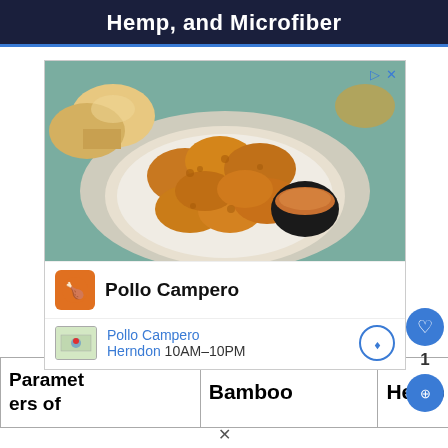Hemp, and Microfiber
[Figure (photo): Advertisement photo showing fried chicken pieces with dipping sauce on a plate with bread rolls, for Pollo Campero restaurant. Includes brand name 'Pollo Campero' and location 'Herndon 10AM-10PM'.]
| Parameters of | Bamboo | Hemp | Microfi... |
| --- | --- | --- | --- |